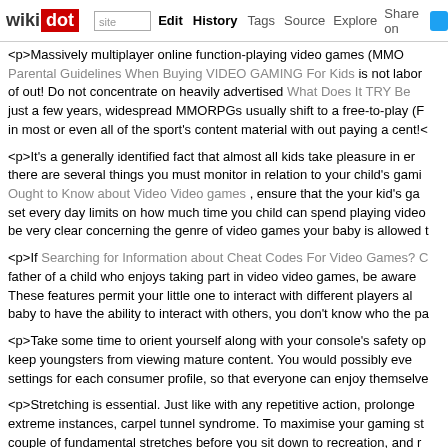wikidot | site | Edit | History | Tags | Source | Explore | Share on Twitter
<p>Massively multiplayer online function-playing video games (MMO Parental Guidelines When Buying VIDEO GAMING For Kids is not labor of out! Do not concentrate on heavily advertised What Does It TRY Be just a few years, widespread MMORPGs usually shift to a free-to-play (F in most or even all of the sport's content material with out paying a cent!</
<p>It's a generally identified fact that almost all kids take pleasure in er there are several things you must monitor in relation to your child's gami Ought to Know about Video Video games , ensure that the your kid's ga set every day limits on how much time you child can spend playing video be very clear concerning the genre of video games your baby is allowed t
<p>If Searching for Information about Cheat Codes For Video Games? C father of a child who enjoys taking part in video video games, be aware These features permit your little one to interact with different players al baby to have the ability to interact with others, you don't know who the pa
<p>Take some time to orient yourself along with your console's safety op keep youngsters from viewing mature content. You would possibly eve settings for each consumer profile, so that everyone can enjoy themselve
<p>Stretching is essential. Just like with any repetitive action, prolonge extreme instances, carpel tunnel syndrome. To maximise your gaming st couple of fundamental stretches before you sit down to recreation, and r fingers throughout your recreation.</p>
<p>Try to restrain your main gaming to only one type of machine. Buying private laptop can cost as much as thousands, simply in hardware. Y virtually all of them. Select one platform to persist with for savings.</p>